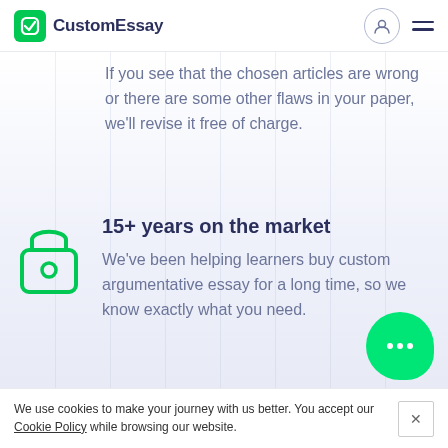CustomEssay
If you see that the chosen articles are wrong or there are some other flaws in your paper, we'll revise it free of charge.
15+ years on the market
We've been helping learners buy custom argumentative essay for a long time, so we know exactly what you need.
We use cookies to make your journey with us better. You accept our Cookie Policy while browsing our website.